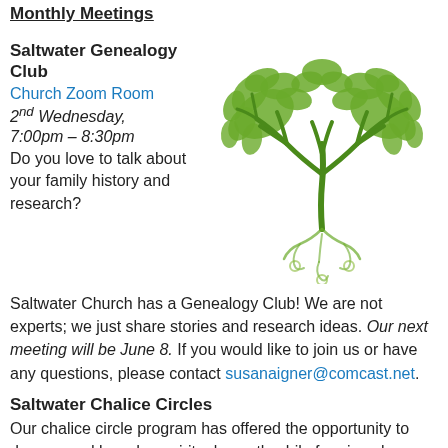Monthly Meetings
Saltwater Genealogy Club
Church Zoom Room
2nd Wednesday, 7:00pm – 8:30pm
Do you love to talk about your family history and research?
[Figure (illustration): Green heart-shaped tree of life illustration with decorative leaves and swirling roots]
Saltwater Church has a Genealogy Club! We are not experts; we just share stories and research ideas. Our next meeting will be June 8. If you would like to join us or have any questions, please contact susanaigner@comcast.net.
Saltwater Chalice Circles
Our chalice circle program has offered the opportunity to deepen and broaden spiritual growth while forming closer relationships with others. Currently, our circles are scheduled through June, see the Saltwater Church